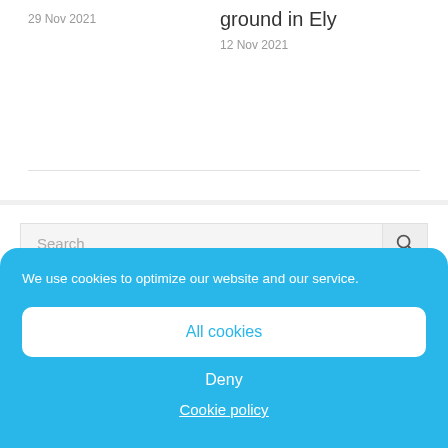29 Nov 2021
ground in Ely
12 Nov 2021
Search
We use cookies to optimize our website and our service.
All cookies
Deny
Cookie policy